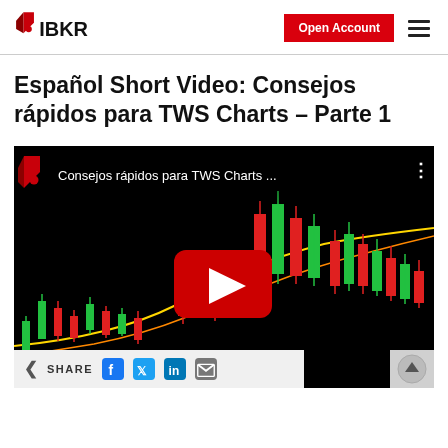IBKR — Open Account
Español Short Video: Consejos rápidos para TWS Charts – Parte 1
[Figure (screenshot): YouTube video thumbnail showing a candlestick trading chart with red and green candles on a black background, a red YouTube play button in the center, and the video title 'Consejos rápidos para TWS Charts ...' in the top bar with IBKR logo.]